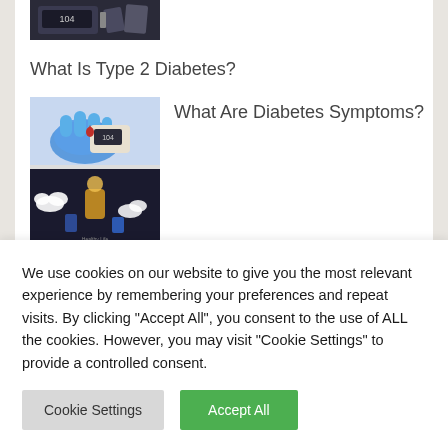[Figure (photo): Partial view of a diabetes glucose meter device at top of content card]
What Is Type 2 Diabetes?
[Figure (photo): Thumbnail showing a hand with glucose meter (top half) and a dark background with icons (bottom half) for 'What Are Diabetes Symptoms?' article]
What Are Diabetes Symptoms?
We use cookies on our website to give you the most relevant experience by remembering your preferences and repeat visits. By clicking "Accept All", you consent to the use of ALL the cookies. However, you may visit "Cookie Settings" to provide a controlled consent.
Cookie Settings
Accept All